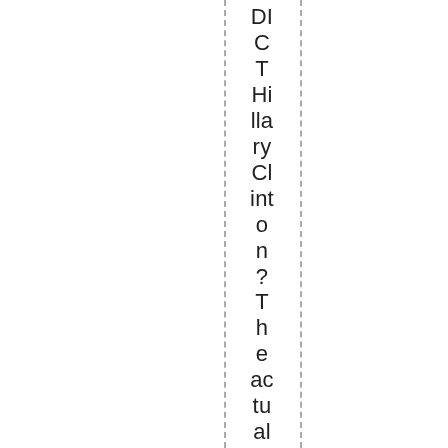DID CT Hillary Clinton? The actual rulers selected her as the